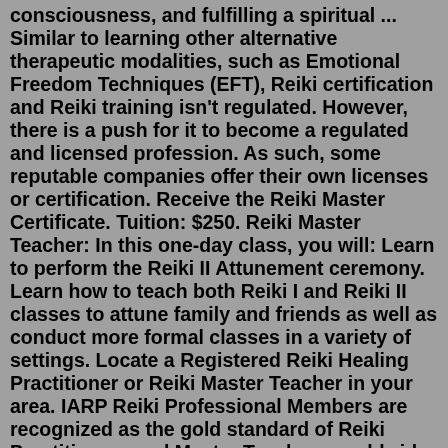consciousness, and fulfilling a spiritual ... Similar to learning other alternative therapeutic modalities, such as Emotional Freedom Techniques (EFT), Reiki certification and Reiki training isn't regulated. However, there is a push for it to become a regulated and licensed profession. As such, some reputable companies offer their own licenses or certification. Receive the Reiki Master Certificate. Tuition: $250. Reiki Master Teacher: In this one-day class, you will: Learn to perform the Reiki II Attunement ceremony. Learn how to teach both Reiki I and Reiki II classes to attune family and friends as well as conduct more formal classes in a variety of settings. Locate a Registered Reiki Healing Practitioner or Reiki Master Teacher in your area. IARP Reiki Professional Members are recognized as the gold standard of Reiki Practitioners and Master Teachers worldwide, with ongoing commitment to professionalism, dedication, and honored service to clients and students. You'll also receive a completion email after the ceremony! Beautiful Usui Reiki 1, 2 + Master Certificates (PDF)